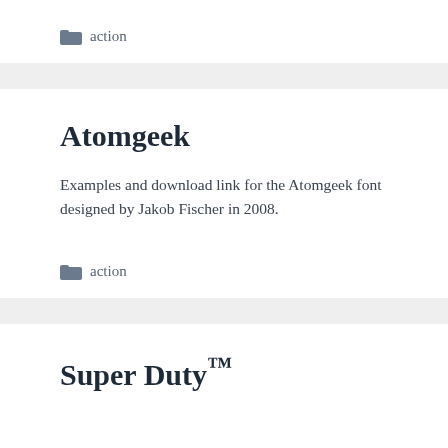action
Atomgeek
Examples and download link for the Atomgeek font designed by Jakob Fischer in 2008.
action
Super Duty™